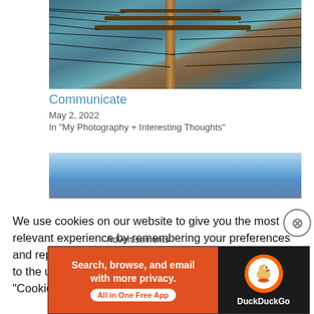[Figure (photo): Power line tower/electricity pylon against a teal/blue sky, top portion of image cropped]
Communicate
May 2, 2022
In "My Photography + Interesting Thoughts"
[Figure (photo): Ocean/sea water surface with blue sky, calm water scene]
We use cookies on our website to give you the most relevant experience by remembering your preferences and repeat visits. By clicking "Accept All", you consent to the use of ALL the cookies. However, you may visit "Cookie Settings" to provide a controlled consent.
Advertisements
[Figure (screenshot): DuckDuckGo advertisement banner: orange-red left side with text 'Search, browse, and email with more privacy. All in One Free App' and dark right side with DuckDuckGo logo]